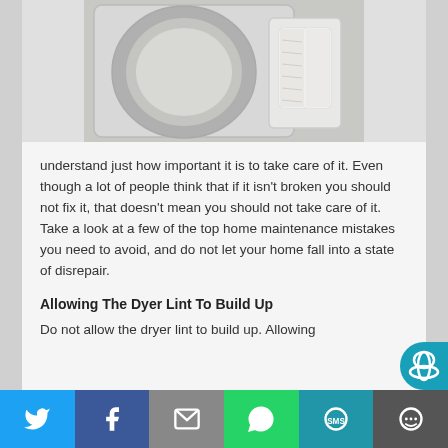[Figure (photo): A dryer machine with open door showing lint trap area, viewed from front]
understand just how important it is to take care of it. Even though a lot of people think that if it isn't broken you should not fix it, that doesn't mean you should not take care of it. Take a look at a few of the top home maintenance mistakes you need to avoid, and do not let your home fall into a state of disrepair.
Allowing The Dyer Lint To Build Up
Do not allow the dryer lint to build up. Allowing